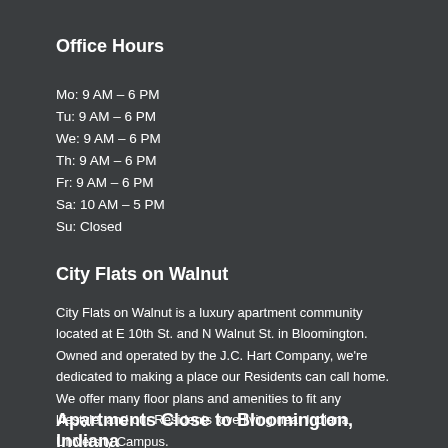Office Hours
Mo: 9 AM – 6 PM
Tu: 9 AM – 6 PM
We: 9 AM – 6 PM
Th: 9 AM – 6 PM
Fr: 9 AM – 6 PM
Sa: 10 AM – 5 PM
Su: Closed
City Flats on Walnut
City Flats on Walnut is a luxury apartment community located at E 10th St. and N Walnut St. in Bloomington. Owned and operated by the J.C. Hart Company, we're dedicated to making a place our Residents can call home. We offer many floor plans and amenities to fit any lifestyle, and our Residents love living near Indiana University Campus.
Apartments Close to Bloomington, Indiana